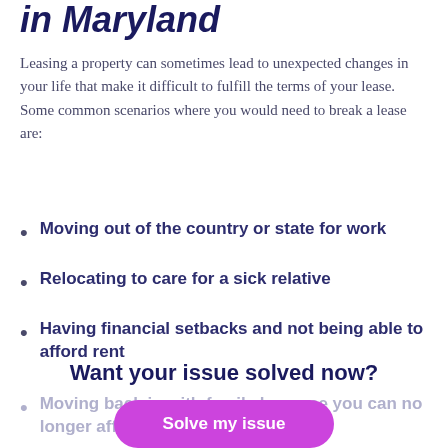in Maryland
Leasing a property can sometimes lead to unexpected changes in your life that make it difficult to fulfill the terms of your lease. Some common scenarios where you would need to break a lease are:
Moving out of the country or state for work
Relocating to care for a sick relative
Having financial setbacks and not being able to afford rent
Want your issue solved now?
Moving back in with family because you can no longer afford to live on your own